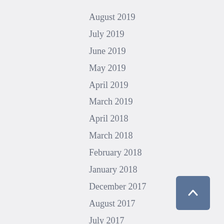August 2019
July 2019
June 2019
May 2019
April 2019
March 2019
April 2018
March 2018
February 2018
January 2018
December 2017
August 2017
July 2017
June 2017
May 2017
April 2017
March 2017
February 2017
January 2017